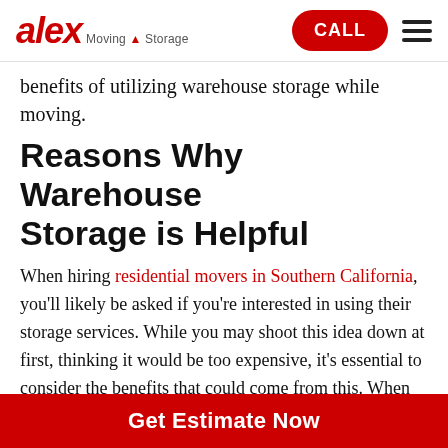alex Moving & Storage | CALL | menu
benefits of utilizing warehouse storage while moving.
Reasons Why Warehouse Storage is Helpful
When hiring residential movers in Southern California, you'll likely be asked if you're interested in using their storage services. While you may shoot this idea down at first, thinking it would be too expensive, it's essential to consider the benefits that could come from this. When you choose storage for your move, you'll enjoy a sense of reduced stress, with the pressure of having to move all of your belongings in one day being removed. Here are a few reasons why warehouse storage is
Get Estimate Now